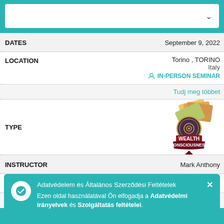[Figure (screenshot): Dropdown search/filter input box with chevron, on teal background]
| Field | Value |
| --- | --- |
| DATES | September 9, 2022 |
| LOCATION | Torino , TORINO
Italy
IN-PERSON SEMINAR |
|  | Tudj meg többet |
| TYPE | [Wealth Consciousness badge] |
| INSTRUCTOR | Mark Anthony |
| DATES | September 9 - 11, 2022 |
| LOCATION | South Africa
[IN-PERSON SEMINAR] |
Adatvédelem és Általános Szerződési Feltételek Ezen oldal használatával Ön elfogadja a Adatvédelmi irányelvek és Szolgáltatás feltételei.